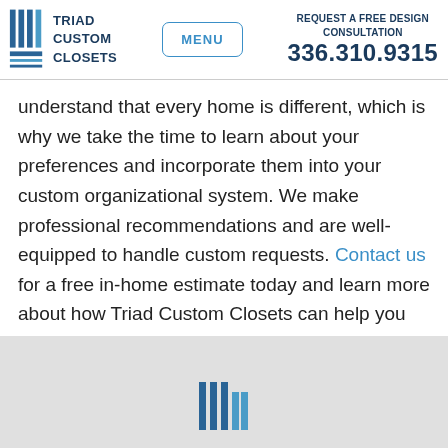Triad Custom Closets | MENU | REQUEST A FREE DESIGN CONSULTATION 336.310.9315
understand that every home is different, which is why we take the time to learn about your preferences and incorporate them into your custom organizational system. We make professional recommendations and are well-equipped to handle custom requests. Contact us for a free in-home estimate today and learn more about how Triad Custom Closets can help you rethink home organization systems!
[Figure (logo): Triad Custom Closets logo icon at the bottom of the gray section]